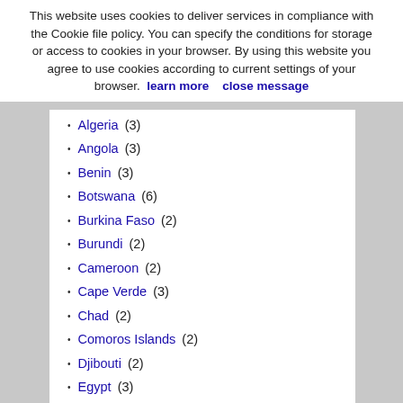This website uses cookies to deliver services in compliance with the Cookie file policy. You can specify the conditions for storage or access to cookies in your browser. By using this website you agree to use cookies according to current settings of your browser.  learn more    close message
Algeria (3)
Angola (3)
Benin (3)
Botswana (6)
Burkina Faso (2)
Burundi (2)
Cameroon (2)
Cape Verde (3)
Chad (2)
Comoros Islands (2)
Djibouti (2)
Egypt (3)
Eritrea (2)
Ethiopia (3)
Ghana (1)